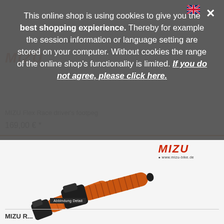This online shop is using cookies to give you the best shopping expierience. Thereby for example the session information or language setting are stored on your computer. Without cookies the range of the online shop's functionality is limited. If you do not agree, please click here.
MIZU Flex Race driver's footpeg
169,00 € *
[Figure (photo): Two orange and black MIZU Flex Race driver footpegs shown side by side with MIZU logo above]
MIZU R...